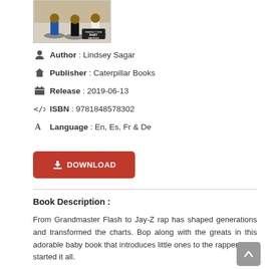[Figure (photo): Book cover image showing cartoon rapper figurines on circular platforms in a gym-like setting, with text 'Perfect for Baby Rappers']
Author : Lindsey Sagar
Publisher : Caterpillar Books
Release : 2019-06-13
ISBN : 9781848578302
Language : En, Es, Fr & De
[Figure (other): Red download button with download icon and text DOWNLOAD]
Book Description :
From Grandmaster Flash to Jay-Z rap has shaped generations and transformed the charts. Bop along with the greats in this adorable baby book that introduces little ones to the rappers that started it all.